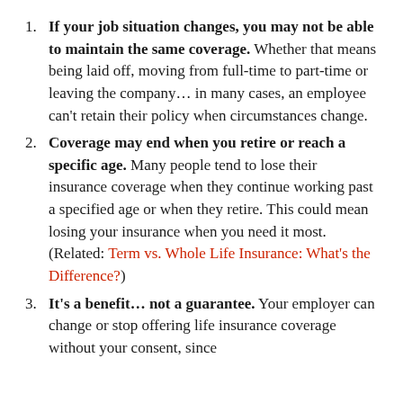If your job situation changes, you may not be able to maintain the same coverage. Whether that means being laid off, moving from full-time to part-time or leaving the company… in many cases, an employee can't retain their policy when circumstances change.
Coverage may end when you retire or reach a specific age. Many people tend to lose their insurance coverage when they continue working past a specified age or when they retire. This could mean losing your insurance when you need it most. (Related: Term vs. Whole Life Insurance: What's the Difference?)
It's a benefit… not a guarantee. Your employer can change or stop offering life insurance coverage without your consent, since